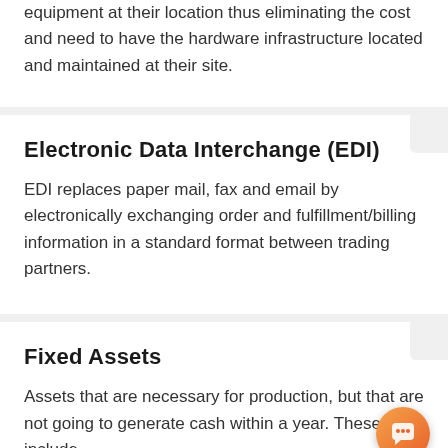equipment at their location thus eliminating the cost and need to have the hardware infrastructure located and maintained at their site.
Electronic Data Interchange (EDI)
EDI replaces paper mail, fax and email by electronically exchanging order and fulfillment/billing information in a standard format between trading partners.
Fixed Assets
Assets that are necessary for production, but that are not going to generate cash within a year. These include